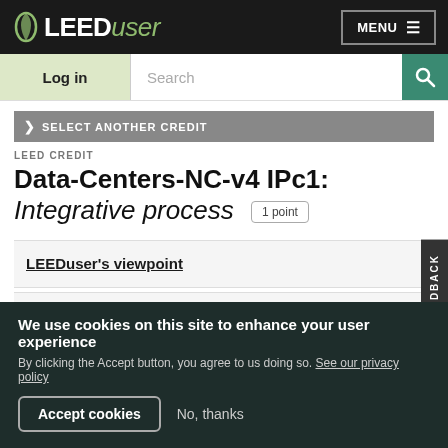LEEDuser MENU
Log in | Search
> SELECT ANOTHER CREDIT
LEED CREDIT
Data-Centers-NC-v4 IPc1: Integrative process  1 point
LEEDuser's viewpoint
Credit language
We use cookies on this site to enhance your user experience  By clicking the Accept button, you agree to us doing so. See our privacy policy  Accept cookies  No, thanks